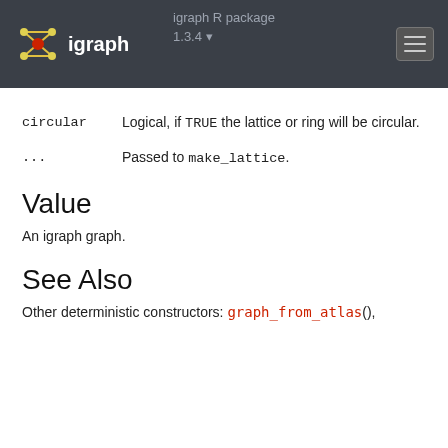igraph R package 1.3.4 — igraph
circular   Logical, if TRUE the lattice or ring will be circular.
...   Passed to make_lattice.
Value
An igraph graph.
See Also
Other deterministic constructors: graph_from_atlas(),